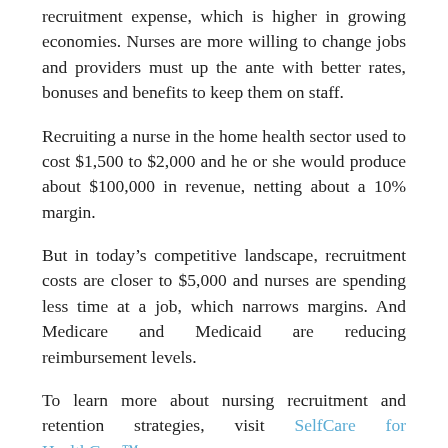recruitment expense, which is higher in growing economies. Nurses are more willing to change jobs and providers must up the ante with better rates, bonuses and benefits to keep them on staff.
Recruiting a nurse in the home health sector used to cost $1,500 to $2,000 and he or she would produce about $100,000 in revenue, netting about a 10% margin.
But in today’s competitive landscape, recruitment costs are closer to $5,000 and nurses are spending less time at a job, which narrows margins. And Medicare and Medicaid are reducing reimbursement levels.
To learn more about nursing recruitment and retention strategies, visit SelfCare for HealthCare™.
Looking for your next healthcare speaker? Get in touch with us at the Capitol City Speakers Bureau today to make